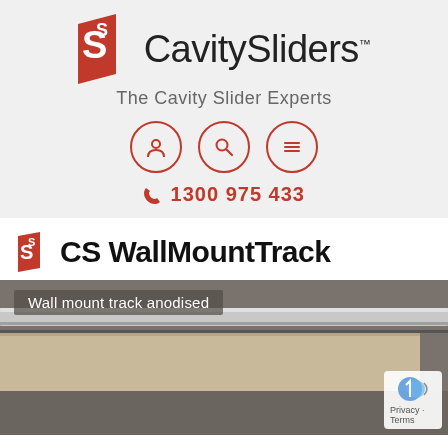[Figure (logo): CavitySliders logo with red CS icon and text 'CavitySliders™ - The Cavity Slider Experts', navigation icons (account, search, menu), and phone number 1300 975 433]
CS WallMountTrack
[Figure (photo): Wall mount track anodised product photo showing a silver horizontal track mounted on a wall with a beige/tan door panel below]